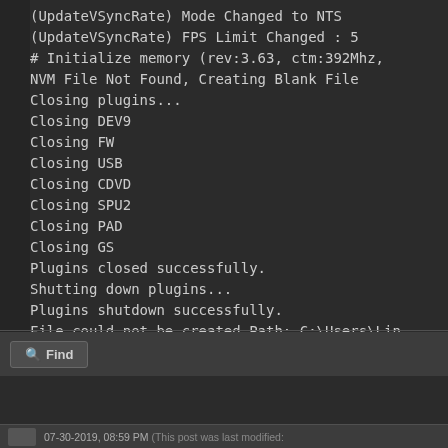(UpdateVSyncRate) Mode Changed to NTS
(UpdateVSyncRate) FPS Limit Changed : 5
# Initialize memory (rev:3.63, ctm:392Mhz,
NVM File Not Found, Creating Blank File
Closing plugins...
Closing DEV9
Closing FW
Closing USB
Closing CDVD
Closing SPU2
Closing PAD
Closing GS
Plugins closed successfully.
Shutting down plugins...
Plugins shutdown successfully.
File could not be created.Path: C:\Users\Lin
(pxActionEvent) (thread:EE Core)
🔍 Find
07-30-2019, 08:59 PM (This post was last modified: